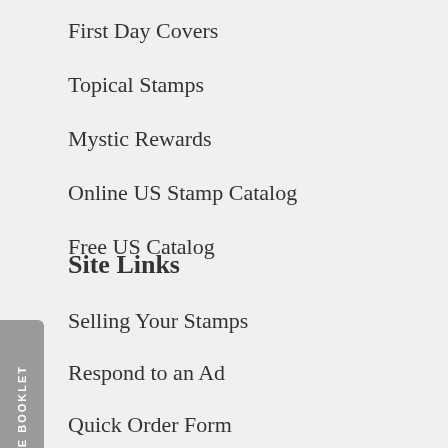First Day Covers
Topical Stamps
Mystic Rewards
Online US Stamp Catalog
Free US Catalog
Site Links
Selling Your Stamps
Respond to an Ad
Quick Order Form
Stamp ID Service
This Day in History